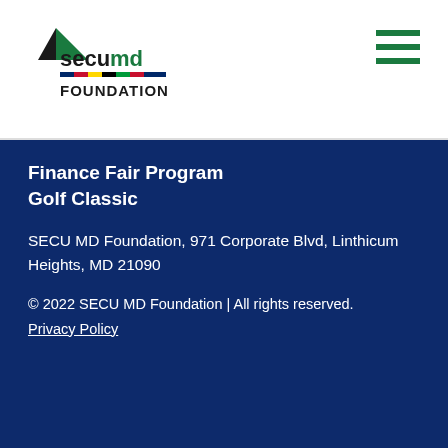[Figure (logo): SECU MD Foundation logo with arrow graphic and colorful bar stripe]
[Figure (other): Hamburger menu icon with three green horizontal bars]
Finance Fair Program
Golf Classic
SECU MD Foundation, 971 Corporate Blvd, Linthicum Heights, MD 21090
© 2022 SECU MD Foundation | All rights reserved.
Privacy Policy